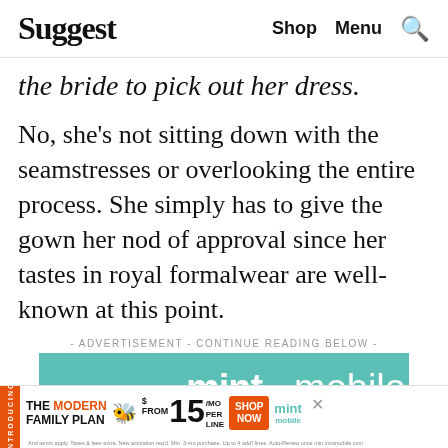Suggest | Shop Menu 🔍
the bride to pick out her dress.
No, she's not sitting down with the seamstresses or overlooking the entire process. She simply has to give the gown her nod of approval since her tastes in royal formalwear are well-known at this point.
- ADVERTISEMENT - CONTINUE READING BELOW -
[Figure (advertisement): Mint Mobile advertisement banner showing the Mint Mobile logo in white on a teal/green background with a phone on a selfie stick graphic]
[Figure (advertisement): Bottom banner ad for Mint Mobile Modern Family Plan: $15/mo per line, with orange SHOP NOW button and Mint Mobile logo]